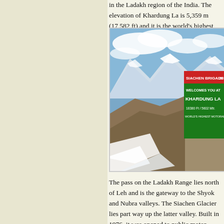in the Ladakh region of the India. The elevation of Khardung La is 5,359 m (17,582 ft) and it is the world's highest motorable pass.
[Figure (photo): Photo of Khardung La mountain pass showing snowy rocky terrain with a green and red signboard reading 'SIACHEN BRIGADE WELCOMES YOU AT KHARDUNG LA' with mountains and blue sky in background.]
The pass on the Ladakh Range lies north of Leh and is the gateway to the Shyok and Nubra valleys. The Siachen Glacier lies part way up the latter valley. Built in 1976, it was opened to public motor vehicles in 1988 and has since seen many automobile, motorbike and mountain biking expeditions. Maintained by the Border Roads Organisation, the pass is strategically important to India as it is used to carry supplies to the Siachen Glacier.